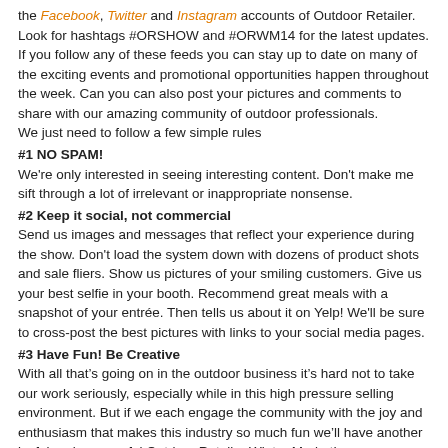the Facebook, Twitter and Instagram accounts of Outdoor Retailer. Look for hashtags #ORSHOW and #ORWM14 for the latest updates. If you follow any of these feeds you can stay up to date on many of the exciting events and promotional opportunities happen throughout the week. Can you can also post your pictures and comments to share with our amazing community of outdoor professionals.
We just need to follow a few simple rules
#1 NO SPAM!
We're only interested in seeing interesting content. Don't make me sift through a lot of irrelevant or inappropriate nonsense.
#2 Keep it social, not commercial
Send us images and messages that reflect your experience during the show. Don't load the system down with dozens of product shots and sale fliers. Show us pictures of your smiling customers. Give us your best selfie in your booth. Recommend great meals with a snapshot of your entrée. Then tells us about it on Yelp! We'll be sure to cross-post the best pictures with links to your social media pages.
#3 Have Fun! Be Creative
With all that's going on in the outdoor business it's hard not to take our work seriously, especially while in this high pressure selling environment. But if we each engage the community with the joy and enthusiasm that makes this industry so much fun we'll have another joyful and successful Outdoor Retailer Winter Market!
Facebook: http://www.facebook.com/OutdoorRetailer